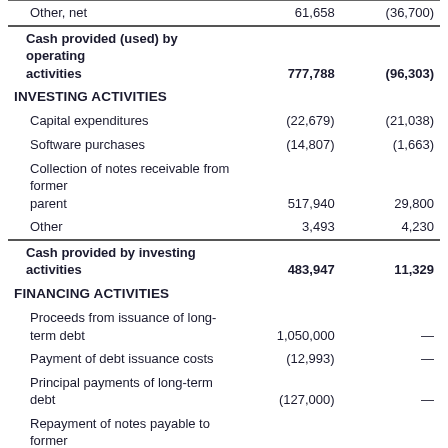|  | Col1 | Col2 |
| --- | --- | --- |
| Other, net | 61,658 | (36,700) |
| Cash provided (used) by operating activities | 777,788 | (96,303) |
| INVESTING ACTIVITIES |  |  |
| Capital expenditures | (22,679) | (21,038) |
| Software purchases | (14,807) | (1,663) |
| Collection of notes receivable from former parent | 517,940 | 29,800 |
| Other | 3,493 | 4,230 |
| Cash provided by investing activities | 483,947 | 11,329 |
| FINANCING ACTIVITIES |  |  |
| Proceeds from issuance of long-term debt | 1,050,000 | — |
| Payment of debt issuance costs | (12,993) | — |
| Principal payments of long-term debt | (127,000) | — |
| Repayment of notes payable to former parent | (269,112) | — |
| Net transfers (to) from former parent | (1,814,682) | 107,246 |
| Dividends paid | (63,555) | — |
| Proceeds from issuance of Common Stock |  |  |